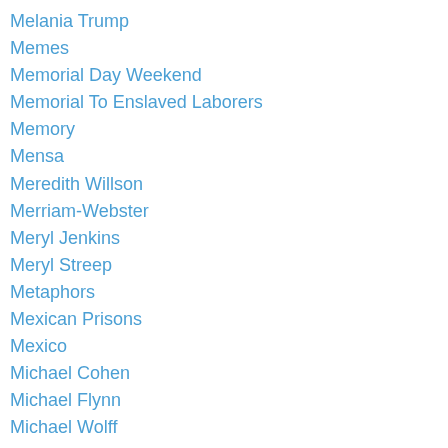Melania Trump
Memes
Memorial Day Weekend
Memorial To Enslaved Laborers
Memory
Mensa
Meredith Willson
Merriam-Webster
Meryl Jenkins
Meryl Streep
Metaphors
Mexican Prisons
Mexico
Michael Cohen
Michael Flynn
Michael Wolff
Michelle Obama
Microwave Ovens
Middle School
Mika Brzezinski
Miko Ronco